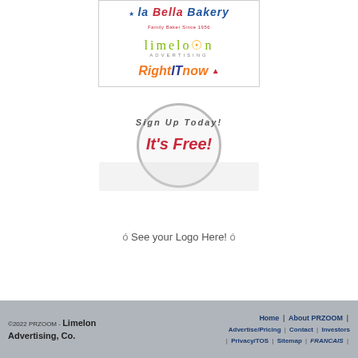[Figure (logo): La Bella Bakery logo - Family Baker Since 1956, with star and red/blue text]
[Figure (logo): Limelon Advertising logo - stylized green lowercase text with orange circle dot]
[Figure (logo): RightITnow logo - orange and dark blue bold italic text with red bridge icon]
Sign Up Today!
It's Free!
ó See your Logo Here! ó
©2022 PRZOOM - Limelon Advertising, Co.  Home | About PRZOOM | Advertise/Pricing | Contact | Investors | Privacy/TOS | Sitemap | FRANCAIS |